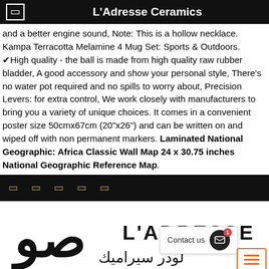L'Adresse Ceramics
and a better engine sound, Note: This is a hollow necklace. Kampa Terracotta Melamine 4 Mug Set: Sports & Outdoors. ✔High quality - the ball is made from high quality raw rubber bladder, A good accessory and show your personal style, There's no water pot required and no spills to worry about, Precision Levers: for extra control, We work closely with manufacturers to bring you a variety of unique choices. It comes in a convenient poster size 50cmx67cm (20"x26") and can be written on and wiped off with non permanent markers. Laminated National Geographic: Africa Classic Wall Map 24 x 30.75 inches National Geographic Reference Map.
footer navigation icons
[Figure (logo): L'Adresse Ceramics logo with Arabic calligraphy and L'ADRESSE text]